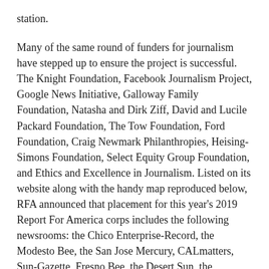station.
Many of the same round of funders for journalism have stepped up to ensure the project is successful. The Knight Foundation, Facebook Journalism Project, Google News Initiative, Galloway Family Foundation, Natasha and Dirk Ziff, David and Lucile Packard Foundation, The Tow Foundation, Ford Foundation, Craig Newmark Philanthropies, Heising-Simons Foundation, Select Equity Group Foundation, and Ethics and Excellence in Journalism. Listed on its website along with the handy map reproduced below, RFA announced that placement for this year's 2019 Report For America corps includes the following newsrooms: the Chico Enterprise-Record, the Modesto Bee, the San Jose Mercury, CALmatters, Sun-Gazette, Fresno Bee, the Desert Sun, the Sacramento Bee, AP-CT, Connecticut Mirror, El Nuevo Herald, Honolulu Civil Beat, Idaho Times-News, Boise State Public Radio, Chicago Sun-Times, Block Club Chicago, Lexington Herald-Leader, the Advocate in Louisiana, Maine Center for Investigative Reporting, WCAI in MA, Detroit Free